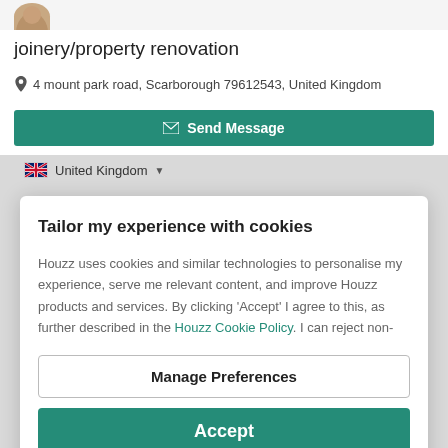[Figure (photo): Partial user avatar circle at top left corner]
joinery/property renovation
4 mount park road, Scarborough 79612543, United Kingdom
Send Message
United Kingdom
Tailor my experience with cookies
Houzz uses cookies and similar technologies to personalise my experience, serve me relevant content, and improve Houzz products and services. By clicking 'Accept' I agree to this, as further described in the Houzz Cookie Policy. I can reject non-
Manage Preferences
Accept